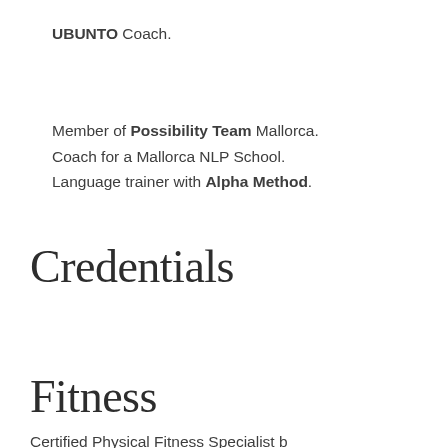UBUNTO Coach.
Member of Possibility Team Mallorca.
Coach for a Mallorca NLP School.
Language trainer with Alpha Method.
Credentials
Fitness
Certified Physical Fitness Specialist b…